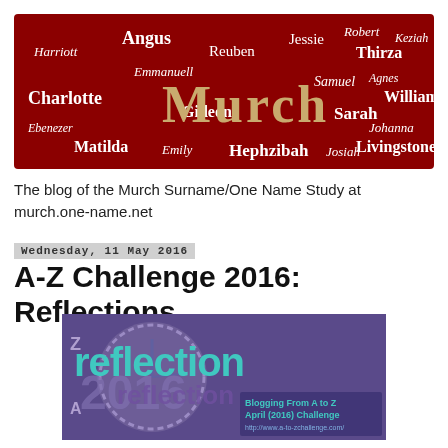[Figure (illustration): Red banner with white text names (Harriott, Angus, Reuben, Jessie, Robert, Thirza, Keziah, Emmanuell, Samuel, Agnes, William, Charlotte, Gideon, Sarah, Johanna, Ebenezer, Matilda, Emily, Hephzibah, Josiah, Livingstone) surrounding a large gold/tan 'Murch' text in gothic serif font, on a dark red background.]
The blog of the Murch Surname/One Name Study at murch.one-name.net
Wednesday, 11 May 2016
A-Z Challenge 2016: Reflections
[Figure (illustration): Purple/blue background image with large teal text 'reflection' overlaid on a clock/stamp graphic, and lower text '2016 reflection', with 'Blogging From A to Z April (2016) Challenge http://www.a-to-zchallenge.com/' in the lower right.]